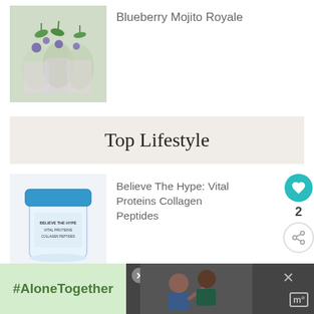[Figure (photo): Blueberry mojito drinks with mint garnish in glasses]
Blueberry Mojito Royale
Top Lifestyle
[Figure (photo): Vital Proteins Collagen Peptides container with blue lid]
Believe The Hype: Vital Proteins Collagen Peptides
[Figure (photo): Diet tips for managing anxiety cookbook with vegetables]
The Struggle Is Real: Anti-Anxiety Diet Tips and Re...
[Figure (photo): What's Next thumbnail - Spiced Turkey and Zucchin...]
WHAT'S NEXT → Spiced Turkey and Zucchin...
#AloneTogether